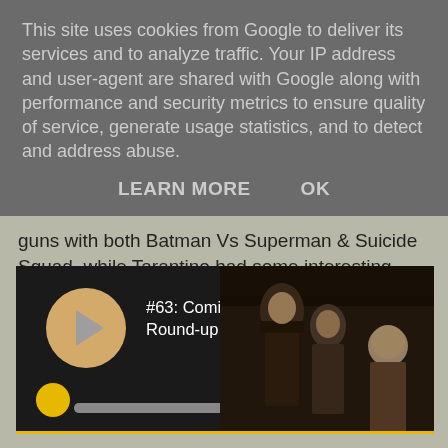This site uses cookies from Google to deliver its services and to analyze traffic. Your IP address and user-agent are shared with Google along with performance and security metrics to ensure quality of service, generate usage statistics, and to detect and address abuse.
LEARN MORE   OK
guns with both Batman Vs Superman & Suicide Squad, while Tarantino had some interesting things to say as about his latest (and probably not final) western, The Hateful Eight. All this and more on another news-packed #NOTwatching Podcast!
[Figure (screenshot): Podcast player widget showing episode #63: Comic Con Round-up inc. Star... with a play button, progress bar, star icon, and a movie thumbnail showing characters from The Hateful Eight. Privacy Policy label on the side.]